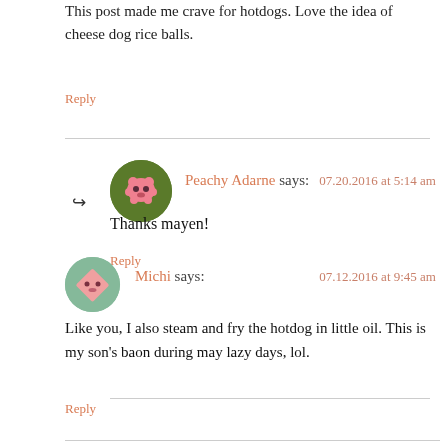This post made me crave for hotdogs. Love the idea of cheese dog rice balls.
Reply
Peachy Adarne says: 07.20.2016 at 5:14 am
Thanks mayen!
Reply
Michi says: 07.12.2016 at 9:45 am
Like you, I also steam and fry the hotdog in little oil. This is my son's baon during may lazy days, lol.
Reply